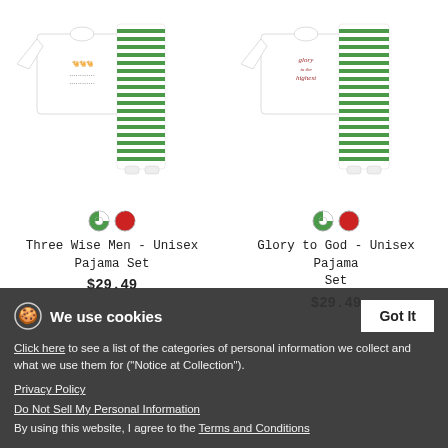[Figure (photo): White long-sleeve shirt with Three Wise Men graphic and green/white striped pajama pants]
Three Wise Men - Unisex Pajama Set
$29.49
[Figure (photo): White long-sleeve shirt with 'Glory to God in the Highest' graphic and green/white striped pajama pants]
Glory to God - Unisex Pajama Set
$29.49
We use cookies
Click here to see a list of the categories of personal information we collect and what we use them for ("Notice at Collection").
Privacy Policy
Do Not Sell My Personal Information
By using this website, I agree to the Terms and Conditions